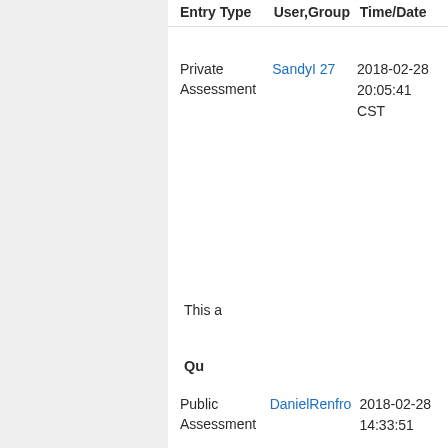| Entry Type | User,Group | Time/Date |
| --- | --- | --- |
| Private Assessment | SandyI 27 | 2018-02-28 20:05:41 CST |
| Public Assessment | DanielRenfro | 2018-02-28 14:33:51 |
This a
Qu